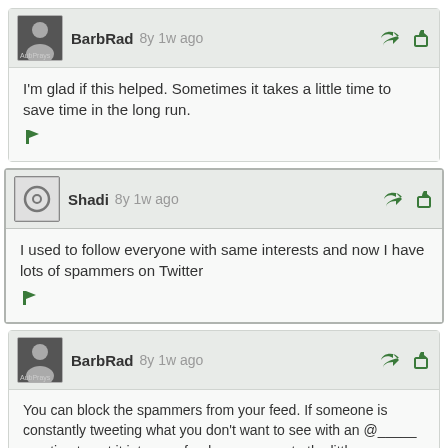BarbRad 8y 1w ago
I'm glad if this helped. Sometimes it takes a little time to save time in the long run.
Shadi 8y 1w ago
I used to follow everyone with same interests and now I have lots of spammers on Twitter
BarbRad 8y 1w ago
You can block the spammers from your feed. If someone is constantly tweeting what you don't want to see with an @_____ mention to get it into your feed, you can go to the little gear on his profile and mute that person -- even if you are still following him. You just won't see his tweets. If it's phishing or bad spam you can block and / or report